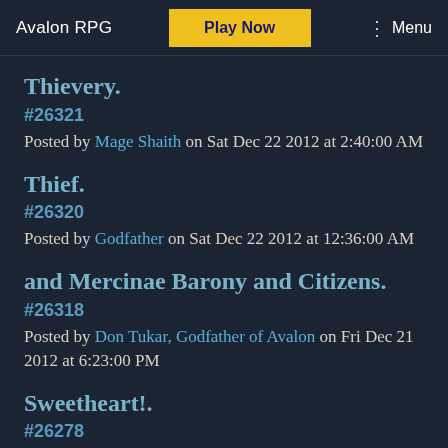Avalon RPG | Play Now | Menu
Thievery.
#26321
Posted by Mage Shaith on Sat Dec 22 2012 at 2:40:00 AM
Thief.
#26320
Posted by Godfather on Sat Dec 22 2012 at 12:36:00 AM
and Mercinae Barony and Citizens.
#26318
Posted by Don Tukar, Godfather of Avalon on Fri Dec 21 2012 at 6:23:00 PM
Sweetheart!.
#26278
Posted by Sir Duncan on Thu Nov 15 2012 at 7:46:00 PM